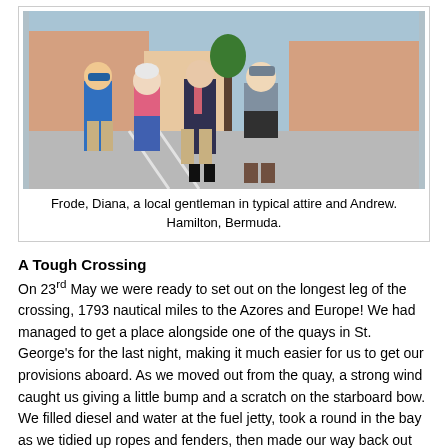[Figure (photo): Four people standing on a sunny street in Hamilton, Bermuda. From left: a man in a blue shirt and cap, a woman in a pink striped top and blue pants, a man in a dark suit with a striped tie, and an older man in a striped shirt and dark shorts.]
Frode, Diana, a local gentleman in typical attire and Andrew. Hamilton, Bermuda.
A Tough Crossing
On 23rd May we were ready to set out on the longest leg of the crossing, 1793 nautical miles to the Azores and Europe! We had managed to get a place alongside one of the quays in St. George's for the last night, making it much easier for us to get our provisions aboard. As we moved out from the quay, a strong wind caught us giving a little bump and a scratch on the starboard bow. We filled diesel and water at the fuel jetty, took a round in the bay as we tidied up ropes and fenders, then made our way back out through the channel to the Atlantic ocean.  We started off in a fresh SE breeze sailing with the genoa , but